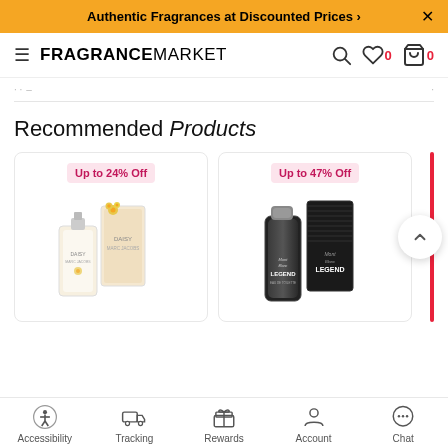Authentic Fragrances at Discounted Prices >
FRAGRANCEMARKET
Recommended Products
[Figure (photo): Product card: Marc Jacobs Daisy perfume bottle with Up to 24% Off badge]
[Figure (photo): Product card: Mont Blanc Legend cologne bottle with Up to 47% Off badge]
Accessibility | Tracking | Rewards | Account | Chat